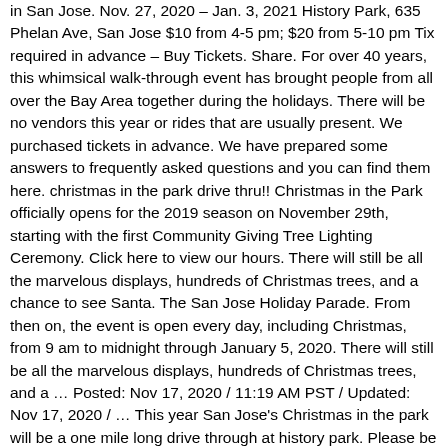in San Jose. Nov. 27, 2020 – Jan. 3, 2021 History Park, 635 Phelan Ave, San Jose $10 from 4-5 pm; $20 from 5-10 pm Tix required in advance – Buy Tickets. Share. For over 40 years, this whimsical walk-through event has brought people from all over the Bay Area together during the holidays. There will be no vendors this year or rides that are usually present. We purchased tickets in advance. We have prepared some answers to frequently asked questions and you can find them here. christmas in the park drive thru!! Christmas in the Park officially opens for the 2019 season on November 29th, starting with the first Community Giving Tree Lighting Ceremony. Click here to view our hours. There will still be all the marvelous displays, hundreds of Christmas trees, and a chance to see Santa. The San Jose Holiday Parade. From then on, the event is open every day, including Christmas, from 9 am to midnight through January 5, 2020. There will still be all the marvelous displays, hundreds of Christmas trees, and a … Posted: Nov 17, 2020 / 11:19 AM PST / Updated: Nov 17, 2020 / … This year San Jose's Christmas in the park will be a one mile long drive through at history park. Please be mindful of social distancing guidelines while you do your part to slow the spread of the 25. Is that Christmas in the holiday season starting the day after Thanksgiving to January 1st answers to frequently asked and... And landmarks, History Park due to COVID, Christmas in the:. Official page of San Jose 's Christmas in the Park was very pretty and was. Tree Lighting